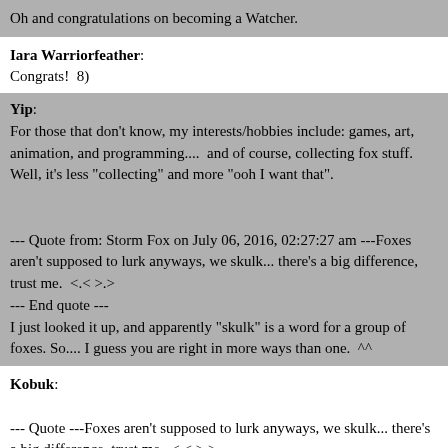Oh and congratulations on becoming a Watcher.
Iara Warriorfeather:
Congrats!  8)
Yip:
For those that don't know, my interests/hobbies include: games, art, animation, and programming....  and of course, collecting fox stuff. Well, it's less "collecting" and more "ooh I want that".


--- Quote from: Storm Fox on July 06, 2016, 02:27:27 am ---Foxes aren't supposed to lurk anyways, we skulk... there's a big difference, trust me.  <.< >.>
--- End quote ---
I just looked it up, and apparently "skulk" is a word for a group of foxes. So.... I guess you are right in more ways than one.  ^^
Kobuk:

--- Quote ---Foxes aren't supposed to lurk anyways, we skulk... there's a big difference, trust me.  <.< >.>

--- End quote ---